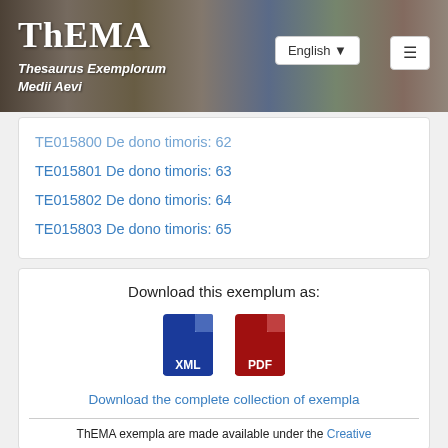[Figure (screenshot): ThEMA website header banner with medieval manuscript illustrations, ThEMA logo, subtitle 'Thesaurus Exemplorum Medii Aevi', English language selector, and hamburger menu button]
TE015800 De dono timoris: 62
TE015801 De dono timoris: 63
TE015802 De dono timoris: 64
TE015803 De dono timoris: 65
Download this exemplum as:
[Figure (illustration): XML file icon (blue) and PDF file icon (red) for downloading]
Download the complete collection of exempla
ThEMA exempla are made available under the Creative